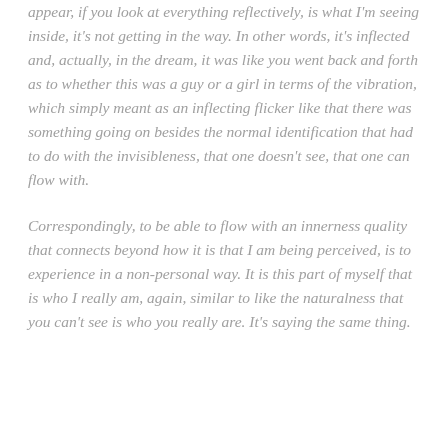appear, if you look at everything reflectively, is what I'm seeing inside, it's not getting in the way. In other words, it's inflected and, actually, in the dream, it was like you went back and forth as to whether this was a guy or a girl in terms of the vibration, which simply meant as an inflecting flicker like that there was something going on besides the normal identification that had to do with the invisibleness, that one doesn't see, that one can flow with.
Correspondingly, to be able to flow with an innerness quality that connects beyond how it is that I am being perceived, is to experience in a non-personal way. It is this part of myself that is who I really am, again, similar to like the naturalness that you can't see is who you really are. It's saying the same thing.